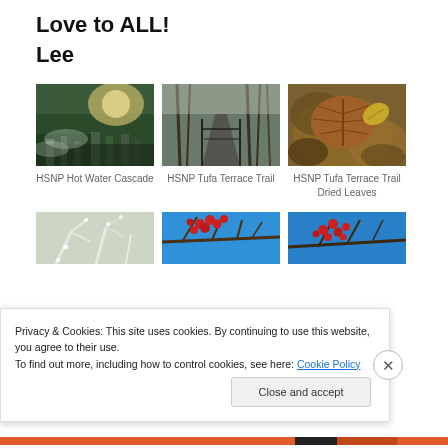Love to ALL!
Lee
[Figure (photo): HSNP Hot Water Cascade - misty waterscape with trees and sunlight]
HSNP Hot Water Cascade
[Figure (photo): HSNP Tufa Terrace Trail - walkway through bare winter trees]
HSNP Tufa Terrace Trail
[Figure (photo): HSNP Tufa Terrace Trail Dried Leaves - close up of dried autumn leaves]
HSNP Tufa Terrace Trail Dried Leaves
[Figure (photo): Frost-covered plant branches]
[Figure (photo): Red berries on branches against blue sky]
[Figure (photo): Red berries on bare branches against blue sky]
Privacy & Cookies: This site uses cookies. By continuing to use this website, you agree to their use.
To find out more, including how to control cookies, see here: Cookie Policy
Close and accept